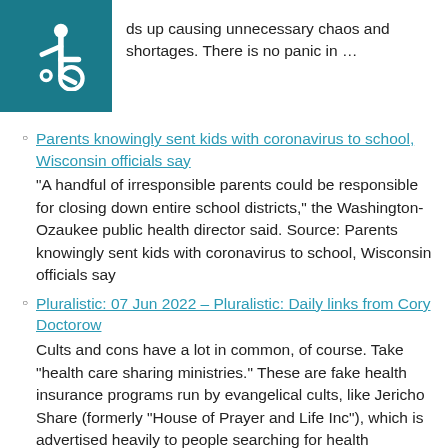[Figure (logo): Accessibility wheelchair icon in white on teal/dark cyan background]
ds up causing unnecessary chaos and shortages. There is no panic in …
Parents knowingly sent kids with coronavirus to school, Wisconsin officials say
“A handful of irresponsible parents could be responsible for closing down entire school districts,” the Washington-Ozaukee public health director said. Source: Parents knowingly sent kids with coronavirus to school, Wisconsin officials say
Pluralistic: 07 Jun 2022 – Pluralistic: Daily links from Cory Doctorow

Cults and cons have a lot in common, of course. Take “health care sharing ministries.” These are fake health insurance programs run by evangelical cults, like Jericho Share (formerly “House of Prayer and Life Inc”), which is advertised heavily to people searching for health insurance, even though it is definitely not health insurance.Writing for Kaiser …
PPE and Pandemic Aware Fashion Guide for Merchants and